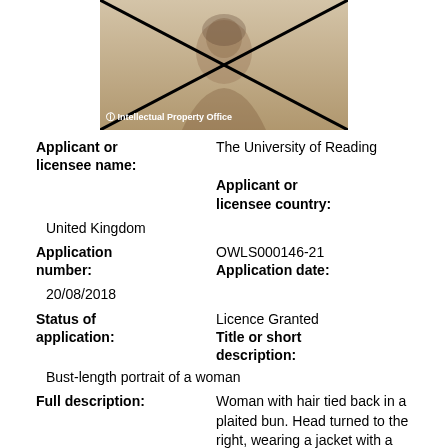[Figure (photo): Bust-length portrait of a woman, sepia/grayscale tone, with an X mark crossed over the image and an Intellectual Property Office watermark.]
Applicant or licensee name: The University of Reading
Applicant or licensee country: United Kingdom
Application number: OWLS000146-21
Application date: 20/08/2018
Status of application: Licence Granted
Title or short description: Bust-length portrait of a woman
Full description: Woman with hair tied back in a plaited bun. Head turned to the right, wearing a jacket with a